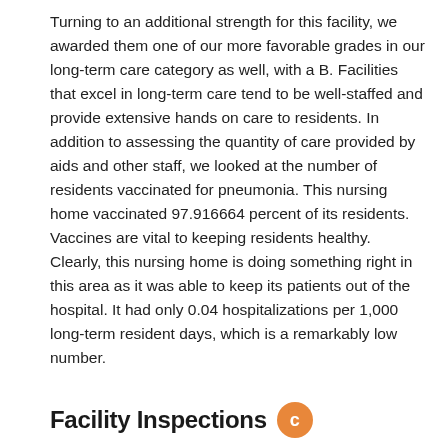Turning to an additional strength for this facility, we awarded them one of our more favorable grades in our long-term care category as well, with a B. Facilities that excel in long-term care tend to be well-staffed and provide extensive hands on care to residents. In addition to assessing the quantity of care provided by aids and other staff, we looked at the number of residents vaccinated for pneumonia. This nursing home vaccinated 97.916664 percent of its residents. Vaccines are vital to keeping residents healthy. Clearly, this nursing home is doing something right in this area as it was able to keep its patients out of the hospital. It had only 0.04 hospitalizations per 1,000 long-term resident days, which is a remarkably low number.
Facility Inspections C